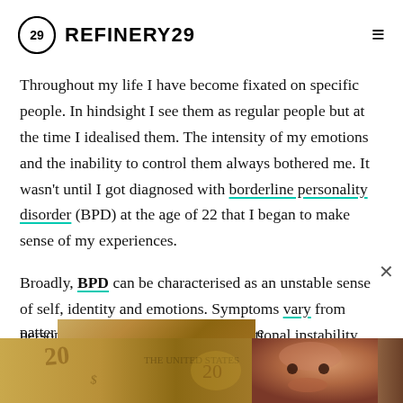REFINERY29
Throughout my life I have become fixated on specific people. In hindsight I see them as regular people but at the time I idealised them. The intensity of my emotions and the inability to control them always bothered me. It wasn't until I got diagnosed with borderline personality disorder (BPD) at the age of 22 that I began to make sense of my experiences.
Broadly, BPD can be characterised as an unstable sense of self, identity and emotions. Symptoms vary from person to person but can include emotional instability, disturbed patterns of thinking... relationships... own
[Figure (photo): Advertisement overlay showing a woman's face and currency/money, with a close button (×)]